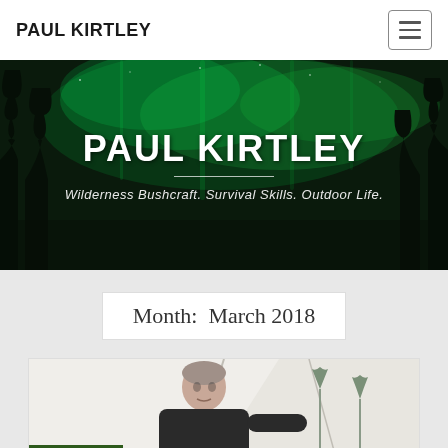PAUL KIRTLEY
[Figure (photo): Hero banner with aurora borealis (northern lights) in green over dark trees at night, with 'PAUL KIRTLEY' title and subtitle 'Wilderness Bushcraft. Survival Skills. Outdoor Life.']
PAUL KIRTLEY
Wilderness Bushcraft. Survival Skills. Outdoor Life.
Month:  March 2018
[Figure (photo): Man in black fleece jacket standing inside or near a white canvas tent/tipi, with trees in snowy background. Green 'Episode 60' label overlay at bottom left.]